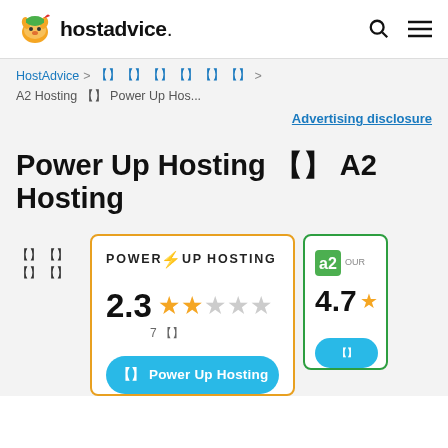hostadvice.
HostAdvice > 웹호스팅리뷰 > A2 Hosting 대 Power Up Hos...
Advertising disclosure
Power Up Hosting 대 A2 Hosting
비교하기
[Figure (other): PowerUp Hosting rating card showing logo, 2.3 star rating (2 filled stars out of 5), 7 reviews, and a visit button]
[Figure (other): A2 Hosting partial card showing logo, 4.7 rating, and a visit button (cut off on right)]